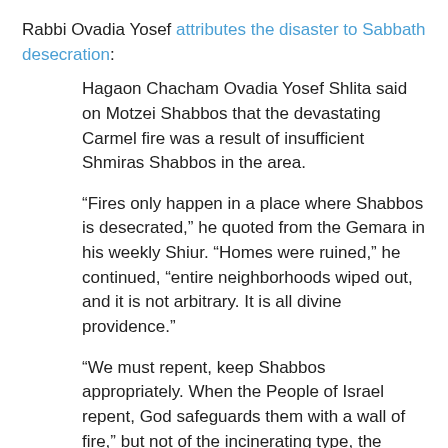Rabbi Ovadia Yosef attributes the disaster to Sabbath desecration:
Hagaon Chacham Ovadia Yosef Shlita said on Motzei Shabbos that the devastating Carmel fire was a result of insufficient Shmiras Shabbos in the area.
“Fires only happen in a place where Shabbos is desecrated,” he quoted from the Gemara in his weekly Shiur. “Homes were ruined,” he continued, “entire neighborhoods wiped out, and it is not arbitrary. It is all divine providence.”
“We must repent, keep Shabbos appropriately. When the People of Israel repent, God safeguards them with a wall of fire,” but not of the incinerating type, the Chacham added.
Rabbi Dov Lior writes that the fire was Divine punishment for giving away parts of the land of Israel to terrorists.